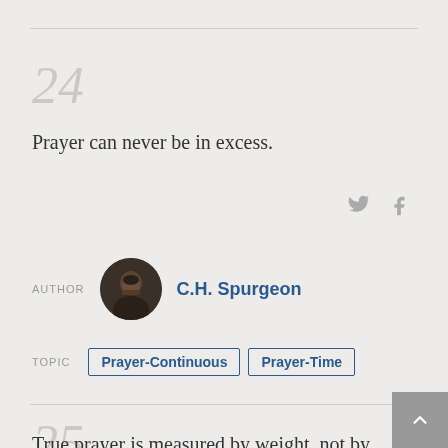24
Prayer can never be in excess.
AUTHOR   C.H. Spurgeon
TOPIC   Prayer-Continuous   Prayer-Time
25
True prayer is measured by weight, not by length. A single